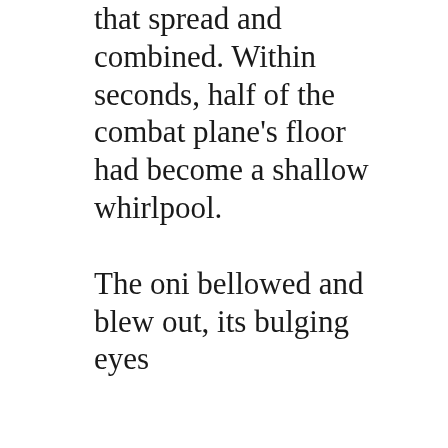that spread and combined. Within seconds, half of the combat plane's floor had become a shallow whirlpool.

The oni bellowed and blew out, its bulging eyes